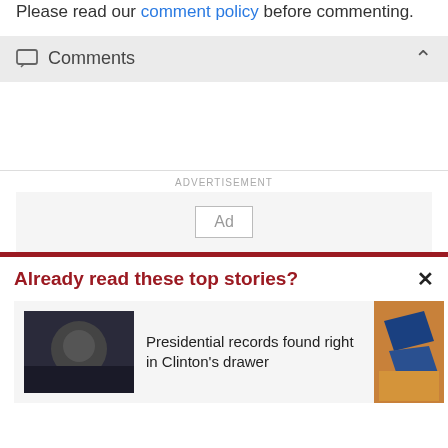Please read our comment policy before commenting.
Comments
ADVERTISEMENT
[Figure (other): Advertisement placeholder box with 'Ad' button]
Already read these top stories?
Presidential records found right in Clinton's drawer